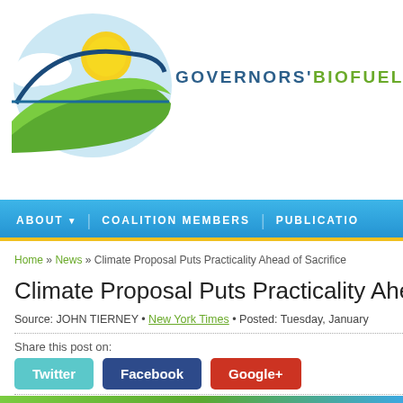[Figure (logo): Governors' Biofuels Coalition logo with sun, clouds, and green swoosh design]
GOVERNORS' BIOFUEL
ABOUT   COALITION MEMBERS   PUBLICATIO
Home » News » Climate Proposal Puts Practicality Ahead of Sacrifice
Climate Proposal Puts Practicality Ahead of Sac
Source: JOHN TIERNEY • New York Times • Posted: Tuesday, January
Share this post on:
Twitter  Facebook  Google+
[Figure (photo): Partial image visible at bottom of page, appears to be a nature/landscape photo]